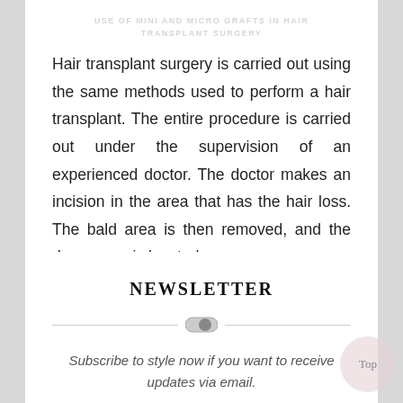Hair transplant surgery is carried out using the same methods used to perform a hair transplant. The entire procedure is carried out under the supervision of an experienced doctor. The doctor makes an incision in the area that has the hair loss. The bald area is then removed, and the donor area is located.
NEWSLETTER
Subscribe to style now if you want to receive updates via email.